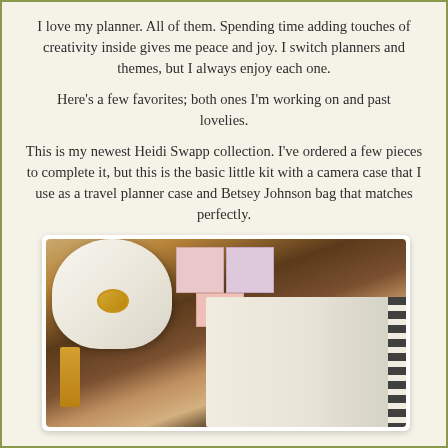I love my planner. All of them. Spending time adding touches of creativity inside gives me peace and joy. I switch planners and themes, but I always enjoy each one.
Here's a few favorites; both ones I'm working on and past lovelies.
This is my newest Heidi Swapp collection. I've ordered a few pieces to complete it, but this is the basic little kit with a camera case that I use as a travel planner case and Betsey Johnson bag that matches perfectly.
[Figure (photo): Photo of a Heidi Swapp planner collection laid out on a dark wood surface, including a white camera case with gold clasp, pink sticky notes, an open planner with black and white spiral binding, and various stationery items.]